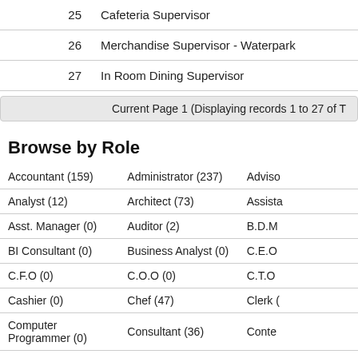| # | Role |
| --- | --- |
| 25 | Cafeteria Supervisor |
| 26 | Merchandise Supervisor - Waterpark |
| 27 | In Room Dining Supervisor |
Current Page 1 (Displaying records 1 to 27 of T
Browse by Role
| Col1 | Col2 | Col3 |
| --- | --- | --- |
| Accountant (159) | Administrator (237) | Adviso |
| Analyst (12) | Architect (73) | Assista |
| Asst. Manager (0) | Auditor (2) | B.D.M |
| BI Consultant (0) | Business Analyst (0) | C.E.O |
| C.F.O (0) | C.O.O (0) | C.T.O |
| Cashier (0) | Chef (47) | Clerk ( |
| Computer Programmer (0) | Consultant (36) | Conte |
| Cook (0) | Coordinator (26) | Custo |